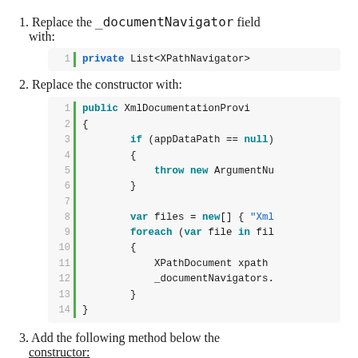1. Replace the _documentNavigator field with:
[Figure (screenshot): Code block showing line 1: private List<XPathNavigator>]
2. Replace the constructor with:
[Figure (screenshot): Code block with lines 1-14 showing public XmlDocumentationProvi constructor with if/throw and foreach loop]
3. Add the following method below the constructor: